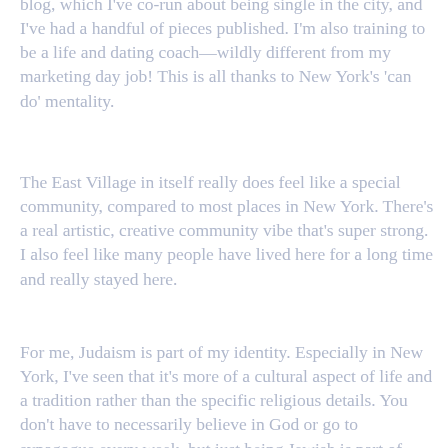blog, which I've co-run about being single in the city, and I've had a handful of pieces published. I'm also training to be a life and dating coach—wildly different from my marketing day job! This is all thanks to New York's 'can do' mentality.
The East Village in itself really does feel like a special community, compared to most places in New York. There's a real artistic, creative community vibe that's super strong. I also feel like many people have lived here for a long time and really stayed here.
For me, Judaism is part of my identity. Especially in New York, I've seen that it's more of a cultural aspect of life and a tradition rather than the specific religious details. You don't have to necessarily believe in God or go to synagogue every week, but just being Jewish is part of who I am. The traditions I grew up with make me feel at home. I love sharing